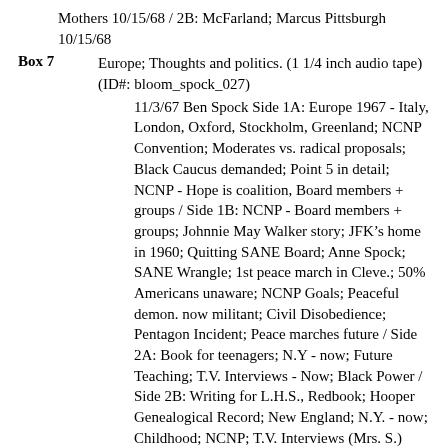Mothers 10/15/68 / 2B: McFarland; Marcus Pittsburgh 10/15/68
Box 7 — Europe; Thoughts and politics. (1 1/4 inch audio tape) (ID#: bloom_spock_027)
11/3/67 Ben Spock Side 1A: Europe 1967 - Italy, London, Oxford, Stockholm, Greenland; NCNP Convention; Moderates vs. radical proposals; Black Caucus demanded; Point 5 in detail; NCNP - Hope is coalition, Board members + groups / Side 1B: NCNP - Board members + groups; Johnnie May Walker story; JFK’s home in 1960; Quitting SANE Board; Anne Spock; SANE Wrangle; 1st peace march in Cleve.; 50% Americans unaware; NCNP Goals; Peaceful demon. now militant; Civil Disobedience; Pentagon Incident; Peace marches future / Side 2A: Book for teenagers; N.Y - now; Future Teaching; T.V. Interviews - Now; Black Power / Side 2B: Writing for L.H.S., Redbook; Hooper Genealogical Record; New England; N.Y. - now; Childhood; NCNP; T.V. Interviews (Mrs. S.)
Box 7 — Files (writing, politics, problem mail) (1 1/4 inch audio tape) (ID#: bloom_spock_030)
Side 1A - Files: 1959-60 Articles Received; 1960 -